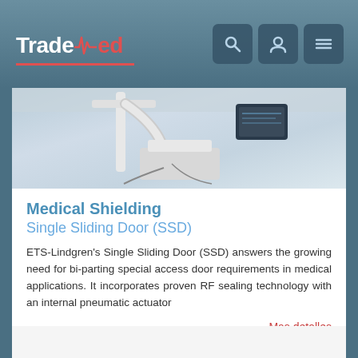TradeMed
[Figure (photo): Medical imaging equipment (C-arm or similar) in a clinical setting, showing white mechanical arm, monitor screen, and equipment body]
Medical Shielding
Single Sliding Door (SSD)
ETS-Lindgren's Single Sliding Door (SSD) answers the growing need for bi-parting special access door requirements in medical applications. It incorporates proven RF sealing technology with an internal pneumatic actuator
Mas detalles
[Figure (logo): ETS-Lindgren logo with wave symbol and company name]
ETS Lindgren RF Enclo..
Proveedor regular